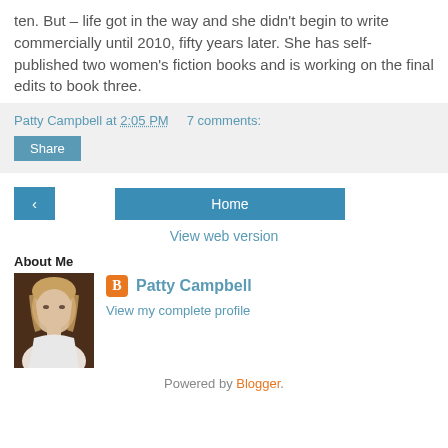ten. But – life got in the way and she didn't begin to write commercially until 2010, fifty years later. She has self-published two women's fiction books and is working on the final edits to book three.
Patty Campbell at 2:05 PM   7 comments:
Share
< Home View web version
About Me
Patty Campbell
View my complete profile
Powered by Blogger.